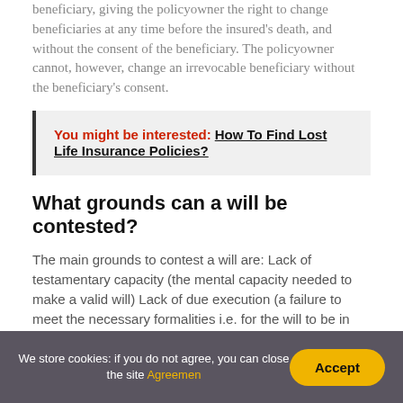beneficiary, giving the policyowner the right to change beneficiaries at any time before the insured's death, and without the consent of the beneficiary. The policyowner cannot, however, change an irrevocable beneficiary without the beneficiary's consent.
You might be interested:  How To Find Lost Life Insurance Policies?
What grounds can a will be contested?
The main grounds to contest a will are: Lack of testamentary capacity (the mental capacity needed to make a valid will) Lack of due execution (a failure to meet the necessary formalities i.e. for the will to be in writing, signed and witnessed correctly)
We store cookies: if you do not agree, you can close the site Agreemen